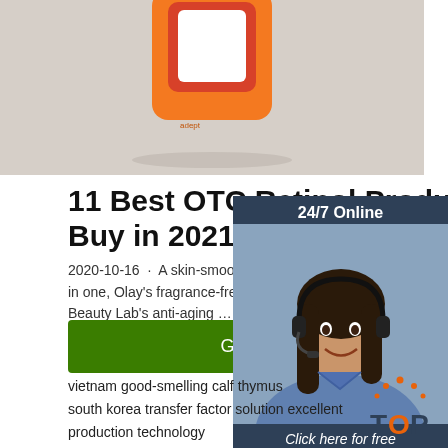[Figure (photo): Product image showing an orange OTC retinol product device on a light surface]
11 Best OTC Retinol Products to Buy in 2021 - Top Rated ...
2020-10-16 · A skin-smoothing retinol treatment moisturizer in one, Olay's fragrance-free formula winner of the GH Beauty Lab's anti-aging …
[Figure (photo): Advertisement sidebar: 24/7 Online support with woman wearing headset, Click here for free chat!, QUOTATION button]
vietnam good-smelling calf thymus
south korea transfer factor solution excellent production technology
singapore bitter gourd polypeptide drying powder improve